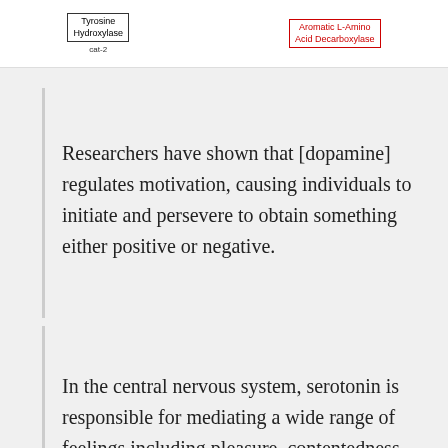[Figure (schematic): Partial diagram showing two enzyme boxes: 'Tyrosine Hydroxylase' with label 'cat-2' (black border) and 'Aromatic L-Amino Acid Decarboxylase' (red border)]
Researchers have shown that [dopamine] regulates motivation, causing individuals to initiate and persevere to obtain something either positive or negative.
In the central nervous system, serotonin is responsible for mediating a wide range of feelings including pleasure, contentedness and even appetite and sleep.